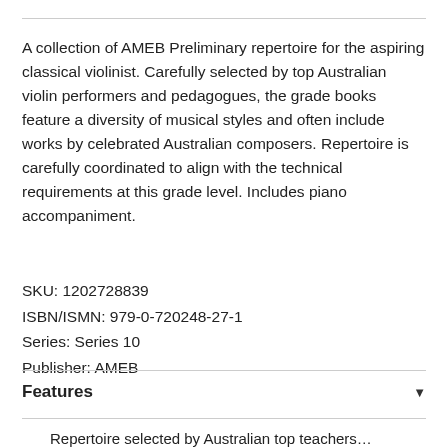A collection of AMEB Preliminary repertoire for the aspiring classical violinist. Carefully selected by top Australian violin performers and pedagogues, the grade books feature a diversity of musical styles and often include works by celebrated Australian composers. Repertoire is carefully coordinated to align with the technical requirements at this grade level. Includes piano accompaniment.
SKU: 1202728839
ISBN/ISMN: 979-0-720248-27-1
Series: Series 10
Publisher: AMEB
Features
Repertoire selected by Australian top teachers